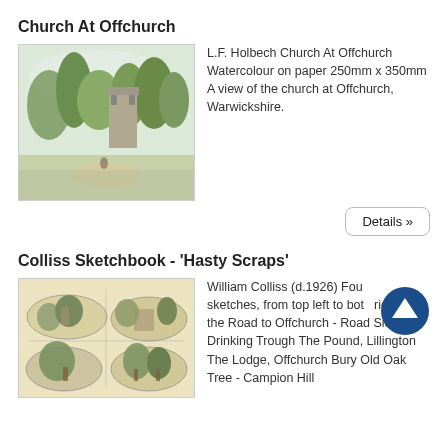Church At Offchurch
[Figure (illustration): Watercolour painting of a church at Offchurch, Warwickshire, surrounded by trees.]
L.F. Holbech Church At Offchurch Watercolour on paper 250mm x 350mm A view of the church at Offchurch, Warwickshire.
Details »
Colliss Sketchbook - 'Hasty Scraps'
[Figure (illustration): Sketchbook page with four landscape sketches by William Colliss.]
William Colliss (d.1926) Four sketches, from top left to bottom right: On the Road to Offchurch - Road Side Drinking Trough The Pound, Lillington The Lodge, Offchurch Bury Old Oak Tree - Campion Hill